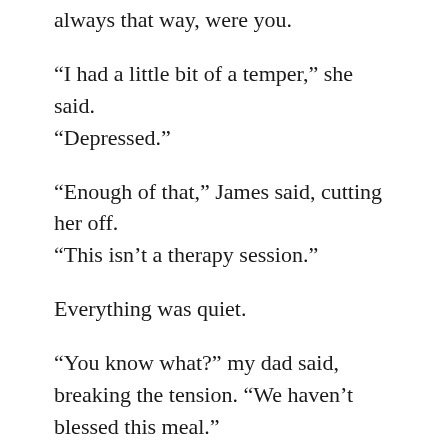always that way, were you.
“I had a little bit of a temper,” she said. “Depressed.”
“Enough of that,” James said, cutting her off. “This isn’t a therapy session.”
Everything was quiet.
“You know what?” my dad said, breaking the tension. “We haven’t blessed this meal.”
Though farmers are generally quiet-natured, James talked a blue streak, telling stories about the town, commenting on the weather, even